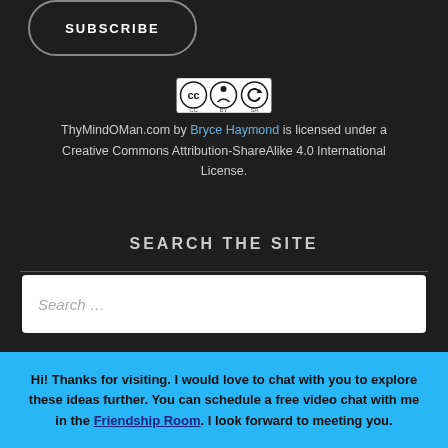[Figure (other): Subscribe button — rounded rectangle border with text SUBSCRIBE]
[Figure (logo): Creative Commons BY-SA license badge showing cc, person icon, and refresh icon with BY SA text]
ThyMindOMan.com by Bryce Haymond is licensed under a Creative Commons Attribution-ShareAlike 4.0 International License.
SEARCH THE SITE
[Figure (other): Search input box with placeholder text 'Search ...']
Hi! Thanks for visiting. I would love to chat with you to explore these ideas further. You can schedule a free video chat with me in the Friendship Room. I look forward to meeting you.